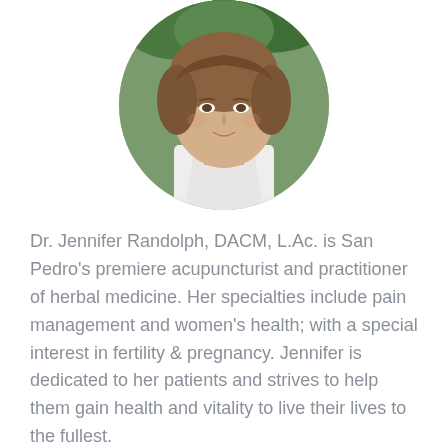[Figure (photo): Circular cropped portrait photo of Dr. Jennifer Randolph, a woman with brown wavy hair wearing a white top, photographed outdoors with a blurred green background.]
Dr. Jennifer Randolph, DACM, L.Ac. is San Pedro's premiere acupuncturist and practitioner of herbal medicine. Her specialties include pain management and women's health; with a special interest in fertility & pregnancy. Jennifer is dedicated to her patients and strives to help them gain health and vitality to live their lives to the fullest.
READ MORE